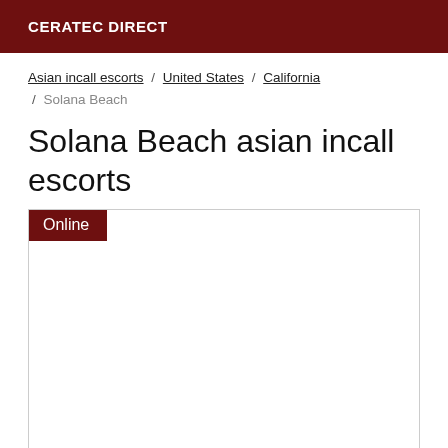CERATEC DIRECT
Asian incall escorts / United States / California / Solana Beach
Solana Beach asian incall escorts
[Figure (other): Card/listing box with Online badge in dark red at top left, otherwise empty white content area]